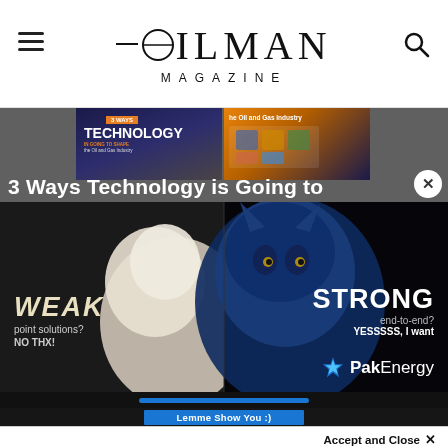OILMAN MAGAZINE
[Figure (screenshot): Article preview image showing '3 Ways Technology is Going to' headline over a dark background with technology illustration thumbnails]
3 Ways Technology is Going to
[Figure (illustration): Advertisement banner for PakEnergy. Split image: left side shows white fluffy animal with text 'WEAK point solutions? NO THX!', right side shows a blue wolf with text 'STRONG end-to-end? YESSSSS, I want' and PakEnergy logo. Black background.]
Lemme Show You :)
Accept and Close ✕
Your browser settings do not allow cross-site tracking for advertising. Click on this page to allow AdRoll to use cross-site tracking to tailor ads to you. Learn more or opt out of this AdRoll tracking by clicking here. This message only appears once.